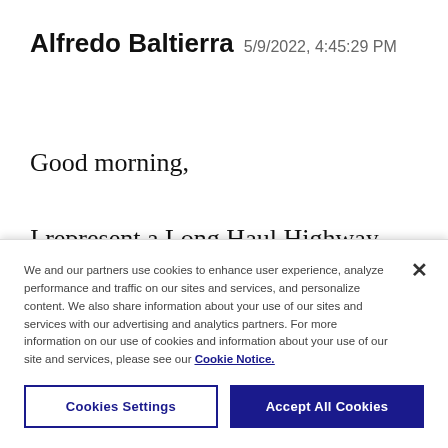Alfredo Baltierra 5/9/2022, 4:45:29 PM
Good morning,
I represent a Long Haul Highway Mexican Carrier that needs a Process Agent to be named
We and our partners use cookies to enhance user experience, analyze performance and traffic on our sites and services, and personalize content. We also share information about your use of our sites and services with our advertising and analytics partners. For more information on our use of cookies and information about your use of our site and services, please see our Cookie Notice.